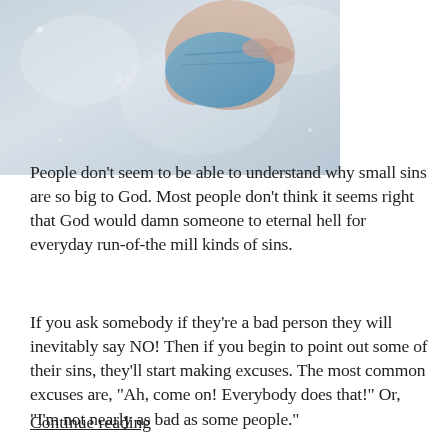[Figure (photo): A hand holding a blue cloth wiping a glass or mirror surface, misty/foggy background]
People don't seem to be able to understand why small sins are so big to God. Most people don't think it seems right that God would damn someone to eternal hell for everyday run-of-the mill kinds of sins.
If you ask somebody if they’re a bad person they will inevitably say NO! Then if you begin to point out some of their sins, they’ll start making excuses. The most common excuses are, “Ah, come on! Everybody does that!” Or, “I’m not nearly as bad as some people.”
Continue reading